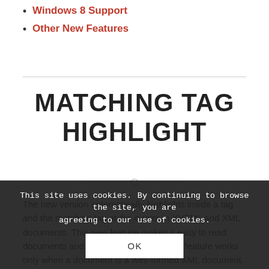Windows 8 Support
Other New Features
MATCHING TAG HIGHLIGHT
The new version automatically highlights inside a tag and the matching tag at the cursor in XHTML and XML documents. This new feature makes it easy to read documents and find matching tags. This feature works only when a document is a well-formed XML document. This feature may not work if ending tags are missing from a document such as an old HTML
This site uses cookies. By continuing to browse the site, you are agreeing to our use of cookies.